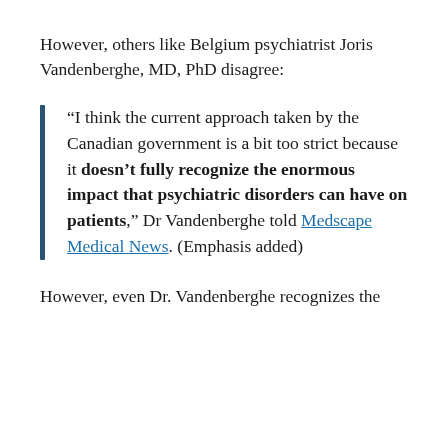However, others like Belgium psychiatrist Joris Vandenberghe, MD, PhD disagree:
“I think the current approach taken by the Canadian government is a bit too strict because it doesn’t fully recognize the enormous impact that psychiatric disorders can have on patients,” Dr Vandenberghe told Medscape Medical News. (Emphasis added)
However, even Dr. Vandenberghe recognizes the